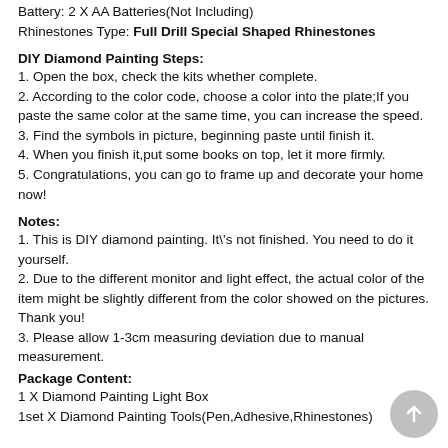Battery: 2 X AA Batteries(Not Including)
Rhinestones Type: Full Drill Special Shaped Rhinestones
DIY Diamond Painting Steps:
1. Open the box, check the kits whether complete.
2. According to the color code, choose a color into the plate;If you paste the same color at the same time, you can increase the speed.
3. Find the symbols in picture, beginning paste until finish it.
4. When you finish it,put some books on top, let it more firmly.
5. Congratulations, you can go to frame up and decorate your home now!
Notes:
1. This is DIY diamond painting. It\'s not finished. You need to do it yourself.
2. Due to the different monitor and light effect, the actual color of the item might be slightly different from the color showed on the pictures. Thank you!
3. Please allow 1-3cm measuring deviation due to manual measurement.
Package Content:
1 X Diamond Painting Light Box
1set X Diamond Painting Tools(Pen,Adhesive,Rhinestones)